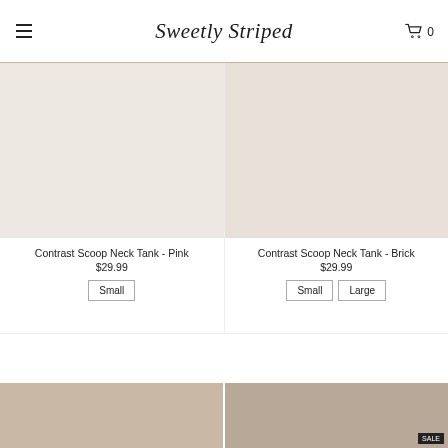Sweetly Striped
Contrast Scoop Neck Tank - Pink
$29.99
Small
Contrast Scoop Neck Tank - Brick
$29.99
Small  Large
[Figure (photo): Product photo placeholder for clothing items at bottom of page, two thumbnails side by side]